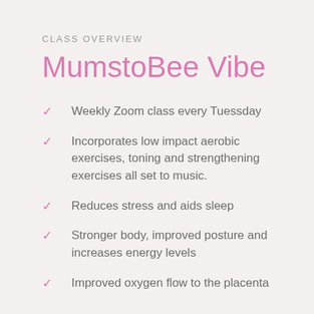CLASS OVERVIEW
MumstoBee Vibe
Weekly Zoom class every Tuessday
Incorporates low impact aerobic exercises, toning and strengthening exercises all set to music.
Reduces stress and aids sleep
Stronger body, improved posture and increases energy levels
Improved oxygen flow to the placenta